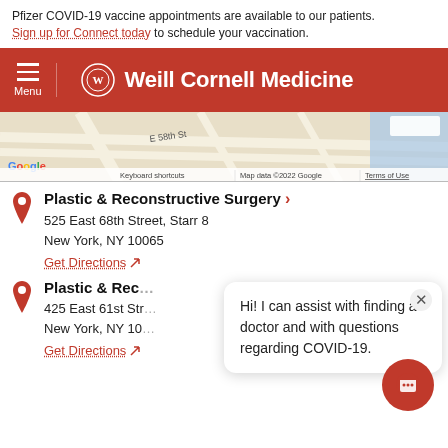Pfizer COVID-19 vaccine appointments are available to our patients. Sign up for Connect today to schedule your vaccination.
Weill Cornell Medicine
[Figure (map): Google Maps snippet showing street map near E 58th St, with Google logo, keyboard shortcuts, Map data ©2022 Google, Terms of Use]
Plastic & Reconstructive Surgery >
525 East 68th Street, Starr 8
New York, NY 10065
Get Directions
Plastic & Rec...
425 East 61st Str...
New York, NY 10...
Get Directions
Hi! I can assist with finding a doctor and with questions regarding COVID-19.